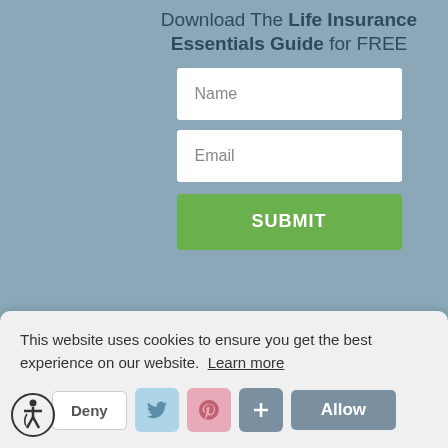Download The Life Insurance Essentials Guide for FREE
[Figure (screenshot): Web form with Name and Email input fields and a green SUBMIT button on a blue-grey background]
This website uses cookies to ensure you get the best experience on our website.  Learn more
[Figure (infographic): Cookie consent buttons: Deny, Twitter icon, Pinterest icon, Plus icon, Allow button]